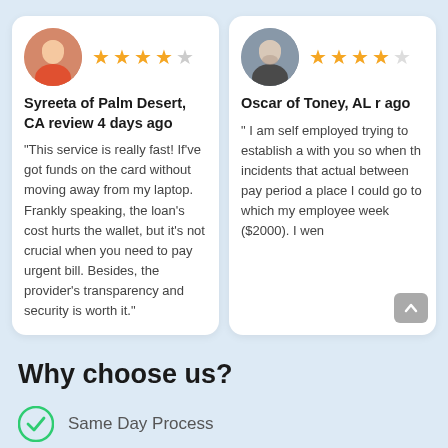Syreeta of Palm Desert, CA review 4 days ago
"This service is really fast! If've got funds on the card without moving away from my laptop. Frankly speaking, the loan's cost hurts the wallet, but it's not crucial when you need to pay urgent bill. Besides, the provider's transparency and security is worth it."
Oscar of Toney, AL r... ago
" I am self employed trying to establish a with you so when th incidents that actual between pay period a place I could go to which my employee week ($2000). I wen
Why choose us?
Same Day Process
Online process